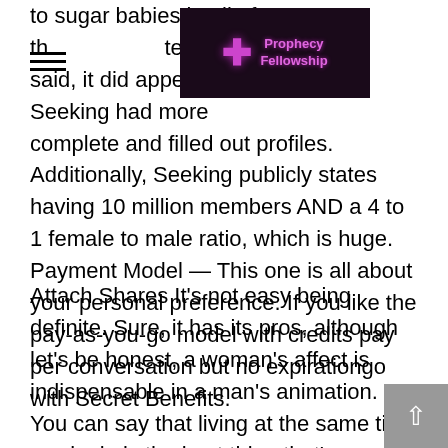to sugar babies in all of the sites tested. That being said, it did appear that the sugar babies on Seeking had more complete and filled out profiles. Additionally, Seeking publicly states having 10 million members AND a 4 to 1 female to male ratio, which is huge. Payment Model — This one is all about your personal preference. If you like the pay-as-you-go model with credits pay per conversation but no expirationgo with Secret Benefits.
[Figure (logo): Prophecy Fellowship logo — dark purple background with a glowing cross/sword symbol and text reading 'Prophecy Fellowship']
Attach Shares It's not easy being definite. Sure, it has its pros, although let's be honest, a woman's affect is indispensable in a man's animation. You can say that living at the same time as single is the best thing that's ever happened to you, but absorbed down, you know you're deluding by hand. In fact, men who talk akin to that remind me of Michael Scott from The Office who once said: Bros before hoes. Because your bros are always there for you.